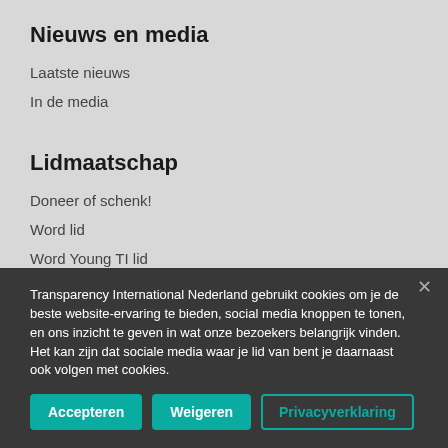Nieuws en media
Laatste nieuws
In de media
Lidmaatschap
Doneer of schenk!
Word lid
Word Young TI lid
Transparency International Nederland gebruikt cookies om je de beste website-ervaring te bieden, social media knoppen te tonen, en ons inzicht te geven in wat onze bezoekers belangrijk vinden. Het kan zijn dat sociale media waar je lid van bent je daarnaast ook volgen met cookies.
Accepteren
Weigeren
Privacyverklaring